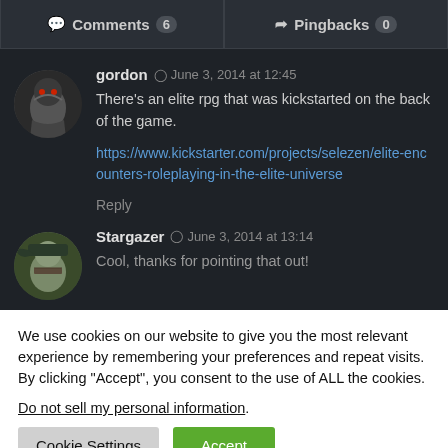Comments 6 | Pingbacks 0
gordon ○ June 3, 2014 at 12:45
There’s an elite rpg that was kickstarted on the back of the game.
https://www.kickstarter.com/projects/selezen/elite-encounters-roleplaying-in-the-elite-universe
Reply
Stargazer ○ June 3, 2014 at 13:14
Cool, thanks for pointing that out!
We use cookies on our website to give you the most relevant experience by remembering your preferences and repeat visits. By clicking “Accept”, you consent to the use of ALL the cookies.
Do not sell my personal information.
Cookie Settings | Accept